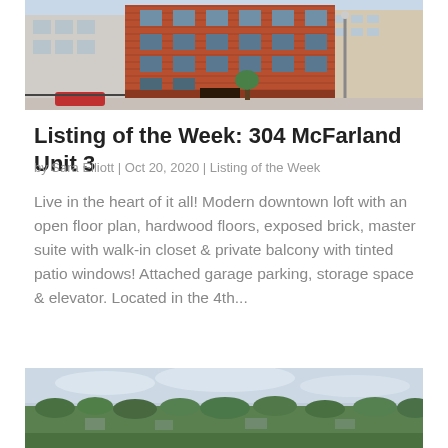[Figure (photo): Exterior photo of a red brick multi-story building in an urban downtown setting with a street lamp and other buildings visible]
Listing of the Week: 304 McFarland Unit 3
by Sara Elliott | Oct 20, 2020 | Listing of the Week
Live in the heart of it all! Modern downtown loft with an open floor plan, hardwood floors, exposed brick, master suite with walk-in closet & private balcony with tinted patio windows! Attached garage parking, storage space & elevator. Located in the 4th...
[Figure (photo): Aerial or elevated landscape photo showing a panoramic view of a green suburban area with trees under an overcast sky]